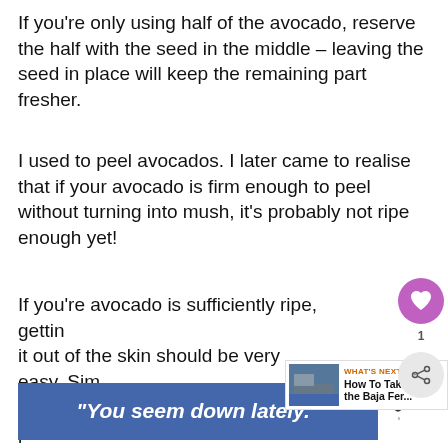If you're only using half of the avocado, reserve the half with the seed in the middle – leaving the seed in place will keep the remaining part fresher.
I used to peel avocados. I later came to realise that if your avocado is firm enough to peel without turning into mush, it's probably not ripe enough yet!
If you're avocado is sufficiently ripe, getting it out of the skin should be very easy. Simply slice the avocado in a criss-cross pattern. Then work the knife around the edge of the skin and squeeze the squares out.
[Figure (other): Heart/like button (purple circle with heart icon) and share button (grey circle with share icon), and a WHAT'S NEXT panel showing a thumbnail of a ferry and text 'How To Take the Baja Fer...']
[Figure (other): Blue advertisement banner with italic bold white text: '"You seem down lately."' and a small logo to the right]